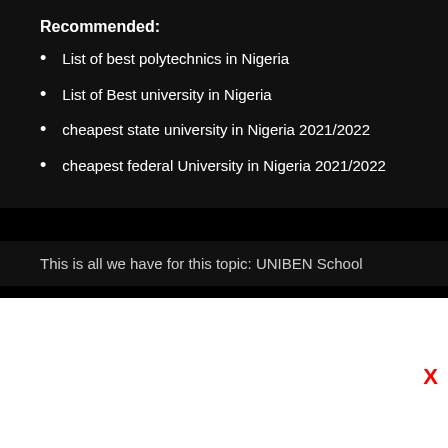Recommended:
List of best polytechnics in Nigeria
List of Best university in Nigeria
cheapest state university in Nigeria 2021/2022
cheapest federal University in Nigeria 2021/2022
This is all we have for this topic: UNIBEN School